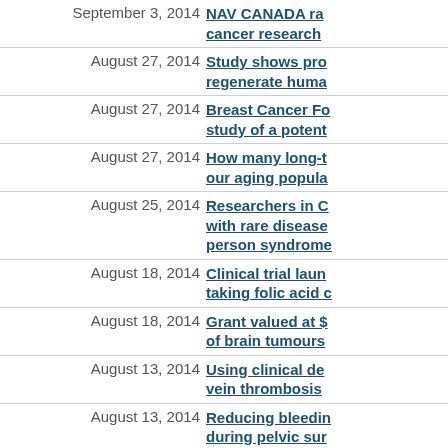September 3, 2014 NAV CANADA ra... cancer research
August 27, 2014 Study shows pro... regenerate huma...
August 27, 2014 Breast Cancer Fo... study of a potent...
August 27, 2014 How many long-t... our aging popula...
August 25, 2014 Researchers in C... with rare disease... person syndrome...
August 18, 2014 Clinical trial laun... taking folic acid c...
August 18, 2014 Grant valued at $... of brain tumours
August 13, 2014 Using clinical de... vein thrombosis
August 13, 2014 Reducing bleedin... during pelvic sur...
August 13, 2014 Grant valued at $... of Spinal Muscula...
August 5, 2014 Studying the effe... nervous system...